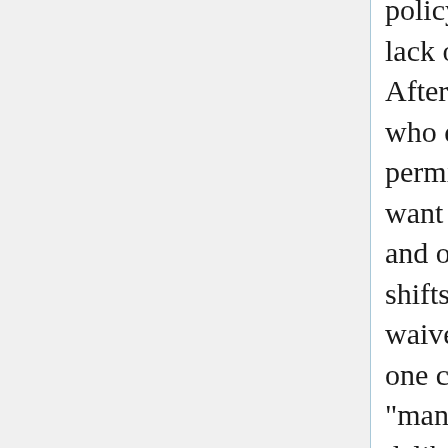policy. In that sense in "shifts the default" from lack of permission for OA to permission for OA. After a rights-retention policy is adopted, faculty who don't lift a finger are granting the institution permission to make their future work OA; if they want a different outcome, they must lift a finger and obtain a waiver. The fact that the policy merely shifts the default, and still allows an opt-out or waiver, means that it is not a "mandate" in at least one common sense of the term. The word "mandate" may suggest a kind of requirement deliberately omitted from the policy. (On the other side, the policy is considerably stronger than a mere request or encouragement, and English has few words other than